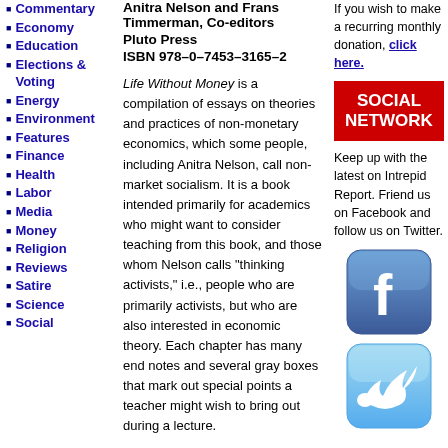Commentary
Economy
Education
Elections & Voting
Energy
Environment
Features
Finance
Health
Labor
Media
Money
Religion
Reviews
Satire
Science
Social
Anitra Nelson and Frans Timmerman, Co-editors
Pluto Press
ISBN 978–0–7453–3165–2
Life Without Money is a compilation of essays on theories and practices of non-monetary economics, which some people, including Anitra Nelson, call non-market socialism. It is a book intended primarily for academics who might want to consider teaching from this book, and those whom Nelson calls “thinking activists,” i.e., people who are primarily activists, but who are also interested in economic theory. Each chapter has many end notes and several gray boxes that mark out special points a teacher might wish to bring out during a lecture.
Frans Timmerman has been a socialist faction leader in the Australian Labor Party
If you wish to make a recurring monthly donation, click here.
[Figure (infographic): Red banner with white bold text reading SOCIAL NETWORK]
Keep up with the latest on Intrepid Report. Friend us on Facebook and follow us on Twitter.
[Figure (logo): Facebook logo icon — blue rounded square with white 'f']
[Figure (logo): Twitter logo icon — light blue rounded square with white bird]